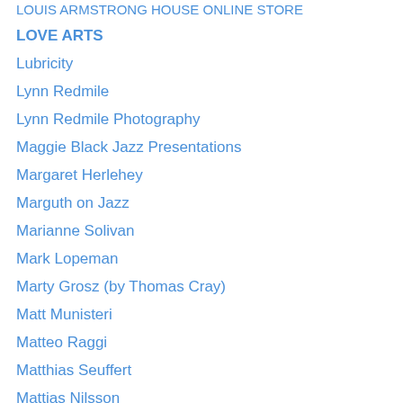LOUIS ARMSTRONG HOUSE ONLINE STORE
LOVE ARTS
Lubricity
Lynn Redmile
Lynn Redmile Photography
Maggie Black Jazz Presentations
Margaret Herlehey
Marguth on Jazz
Marianne Solivan
Mark Lopeman
Marty Grosz (by Thomas Cray)
Matt Munisteri
Matteo Raggi
Matthias Seuffert
Mattias Nilsson
Max the Mutt
Maya Francesca Pic-A-Day
Melissa Collard
Melissa Hamilton Sings
Menno Daams